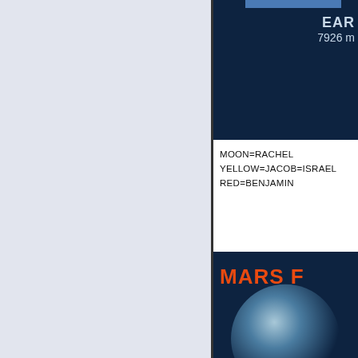[Figure (illustration): Left panel with light blue-gray background, part of a planetary comparison infographic page.]
[Figure (illustration): Top right dark navy panel showing partial Earth graphic with label 'EAR' and '7926 m' (diameter in miles), partially cropped.]
MOON=RACHEL
YELLOW=JACOB=ISRAEL
RED=BENJAMIN
[Figure (illustration): Bottom right dark navy panel showing 'MARS F' (cropped title in orange) and a large blue spherical planet graphic, partially cropped.]